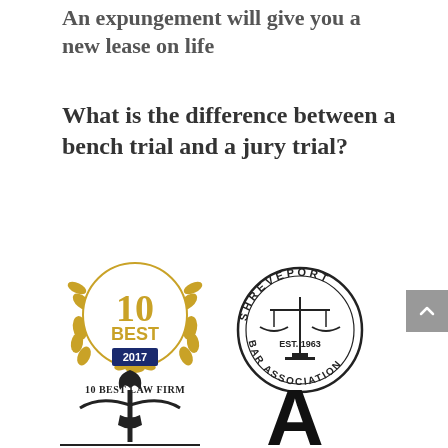An expungement will give you a new lease on life
What is the difference between a bench trial and a jury trial?
[Figure (logo): 10 Best Law Firm 2017 badge with gold laurel wreath and '10 BEST 2017' text]
10 BEST LAW FIRM
[Figure (logo): Shreveport Bar Association circular seal with scales of justice, EST. 1963]
[Figure (logo): Torch/flame logo with horizontal bar (partial, bottom of page)]
[Figure (logo): ABA (American Bar Association) triangular logo mark (partial, bottom of page)]